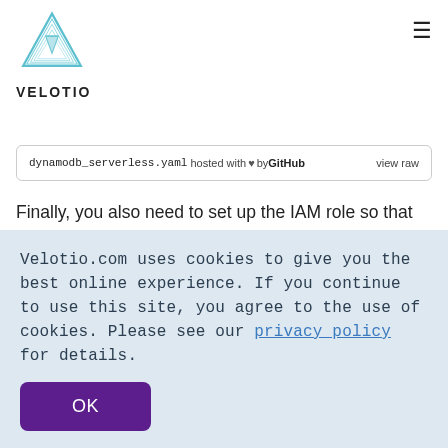VELOTIO
dynamodb_serverless.yaml hosted with ♥ by GitHub   view raw
Finally, you also need to set up the IAM role so that the process image lambda function would have access to the S3 bucket and dynamodb. Here is the serverless
Velotio.com uses cookies to give you the best online experience. If you continue to use this site, you agree to the use of cookies. Please see our privacy_policy for details.
OK